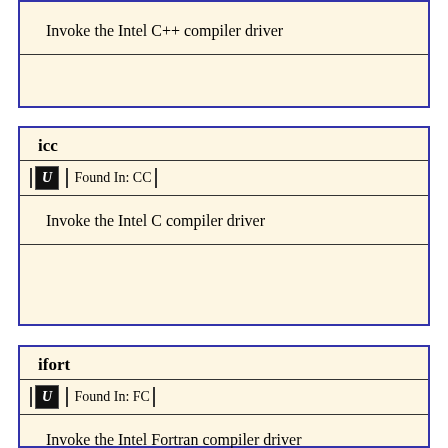Invoke the Intel C++ compiler driver
icc
Found In: CC
Invoke the Intel C compiler driver
ifort
Found In: FC
Invoke the Intel Fortran compiler driver